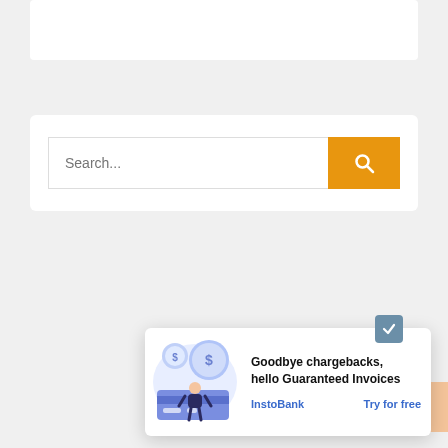[Figure (screenshot): Top white content card (partial, cropped at top)]
[Figure (screenshot): Search bar widget with orange search button and magnifying glass icon]
Recent Posts
Touching on the essence of c...
Bou... stat...
[Figure (illustration): Advertisement popup overlay: illustration of a person with dollar coins and credit card. Text: Goodbye chargebacks, hello Guaranteed Invoices. Links: InstoBank | Try for free]